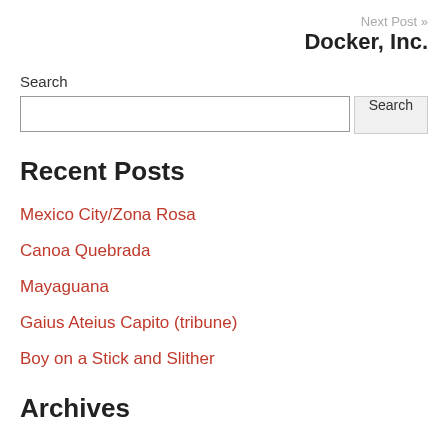Next Post » Docker, Inc.
Search
Recent Posts
Mexico City/Zona Rosa
Canoa Quebrada
Mayaguana
Gaius Ateius Capito (tribune)
Boy on a Stick and Slither
Archives